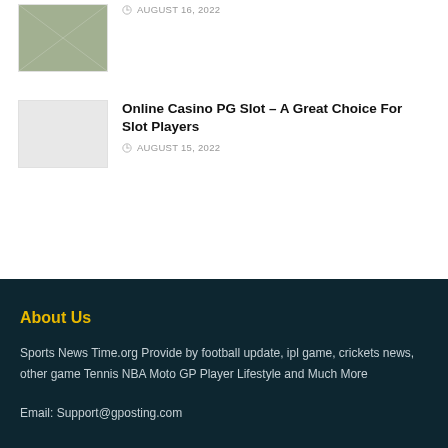[Figure (photo): Thumbnail image, partially visible, appears to show an outdoor sports scene]
AUGUST 16, 2022
Online Casino PG Slot – A Great Choice For Slot Players
AUGUST 15, 2022
About Us
Sports News Time.org Provide by football update, ipl game, crickets news, other game Tennis NBA Moto GP Player Lifestyle and Much More
Email: Support@gposting.com